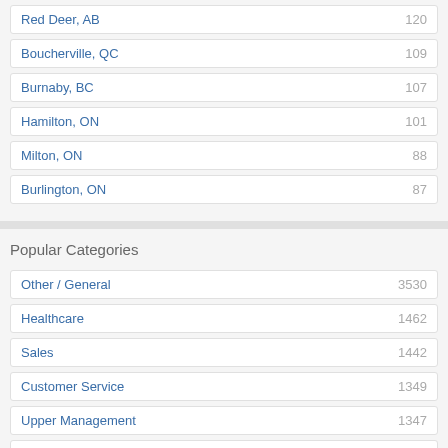Red Deer, AB — 120
Boucherville, QC — 109
Burnaby, BC — 107
Hamilton, ON — 101
Milton, ON — 88
Burlington, ON — 87
Popular Categories
Other / General — 3530
Healthcare — 1462
Sales — 1442
Customer Service — 1349
Upper Management — 1347
Transportation — 1214